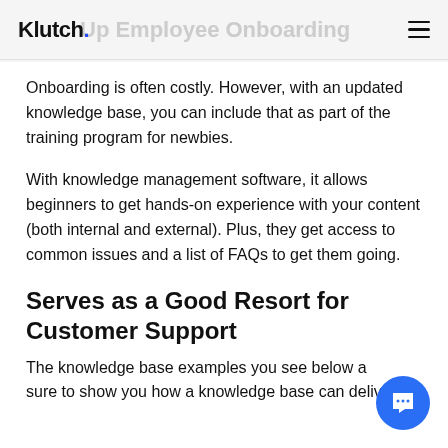Klutch. Up Employee Onboarding
Onboarding is often costly. However, with an updated knowledge base, you can include that as part of the training program for newbies.
With knowledge management software, it allows beginners to get hands-on experience with your content (both internal and external). Plus, they get access to common issues and a list of FAQs to get them going.
Serves as a Good Resort for Customer Support
The knowledge base examples you see below are sure to show you how a knowledge base can deliver